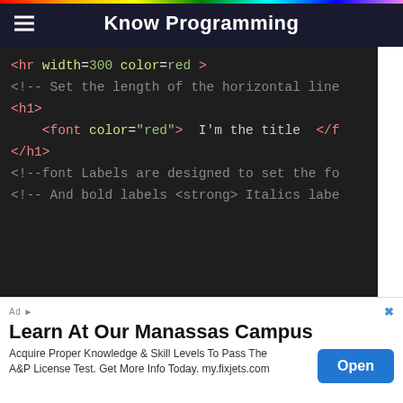Know Programming
[Figure (screenshot): Dark-themed code editor showing HTML code snippet with colored syntax highlighting: hr tag with width and color attributes, HTML comments, h1 tag, font tag with color='red' and text 'I'm the title', closing h1 tag, and two HTML comments about font labels and bold/italics labels.]
With the increase of function ,HTML The language itself has to be more and more bloated , therefore CSS It was born. ,CSS It realizes the separation of web page content and style , namely HTML Language is dedicated to writing content of web pages ,CSS Adjust the style of the web
[Figure (infographic): Advertisement banner: Learn At Our Manassas Campus. Acquire Proper Knowledge & Skill Levels To Pass The A&P License Test. Get More Info Today. my.fixjets.com. With an 'Open' button.]